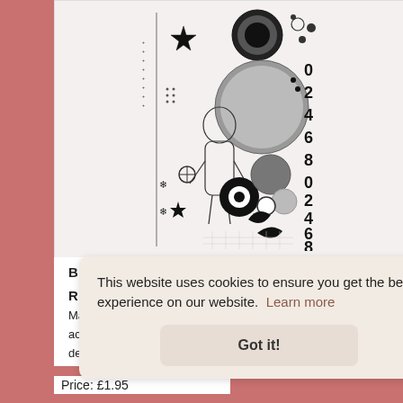[Figure (illustration): Black and white illustrated product image showing an astronaut figure, various geometric shapes, circles, stars, decorative elements, and numbers (0,2,4,6,8,0,2,4,6,8) arranged as a book or poster cover design with a ruler-like scale on the left side.]
B
R
Ma
ac
de
Price: £1.95
This website uses cookies to ensure you get the best experience on our website.  Learn more
Got it!